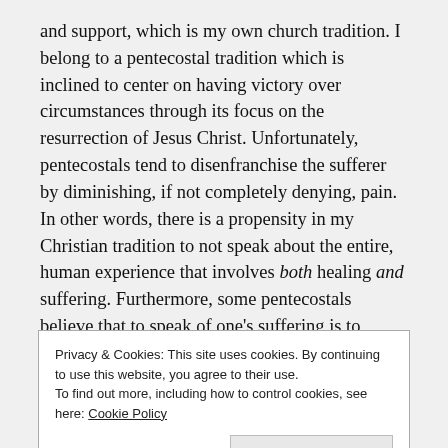and support, which is my own church tradition. I belong to a pentecostal tradition which is inclined to center on having victory over circumstances through its focus on the resurrection of Jesus Christ. Unfortunately, pentecostals tend to disenfranchise the sufferer by diminishing, if not completely denying, pain. In other words, there is a propensity in my Christian tradition to not speak about the entire, human experience that involves both healing and suffering. Furthermore, some pentecostals believe that to speak of one's suffering is to demonstrate a lack of faith and limiting God's ability to intervene by delivering the person from her suffering. As a result, I perceive I am also a disenfranchised griever in
Privacy & Cookies: This site uses cookies. By continuing to use this website, you agree to their use.
To find out more, including how to control cookies, see here: Cookie Policy
validation which theologically occur as I am in Christ